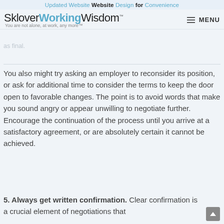Updated Website Design for Convenience
SkloverWorkingWisdom™ You are not alone, at work, any more™ MENU
as final.
You also might try asking an employer to reconsider its position, or ask for additional time to consider the terms to keep the door open to favorable changes. The point is to avoid words that make you sound angry or appear unwilling to negotiate further. Encourage the continuation of the process until you arrive at a satisfactory agreement, or are absolutely certain it cannot be achieved.
5. Always get written confirmation. Clear confirmation is a crucial element of negotiations that